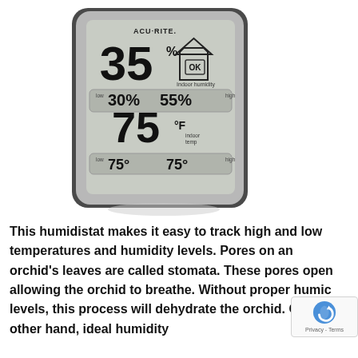[Figure (photo): AcuRite digital humidistat/thermometer device showing 35% indoor humidity (OK), low 30% high 55%, temperature 75°F, low 75°F high 75°F indoor temp.]
This humidistat makes it easy to track high and low temperatures and humidity levels. Pores on an orchid's leaves are called stomata. These pores open allowing the orchid to breathe. Without proper humidity levels, this process will dehydrate the orchid. On the other hand, ideal humidity